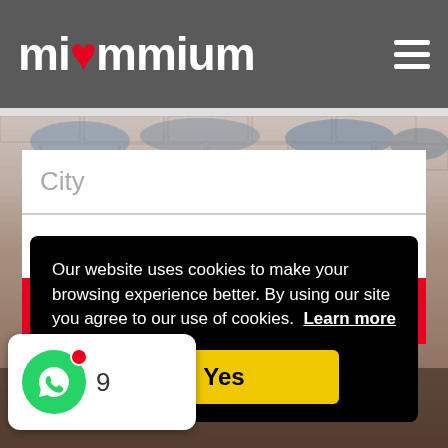miummium
[Figure (photo): Food photograph showing people sharing dishes at a table, viewed from above]
City
Date
Search
Our website uses cookies to make your browsing experience better. By using our site you agree to our use of cookies.  Learn more
Yes
[Figure (logo): WhatsApp chat widget with green circle icon, red notification badge, and number 9]